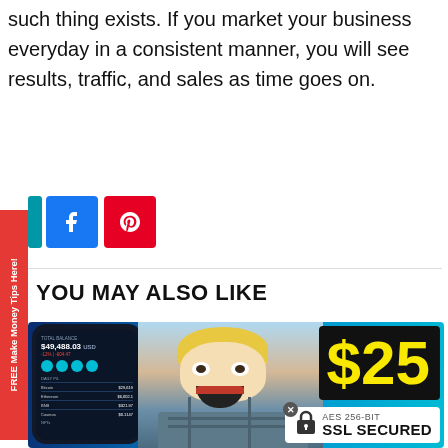such thing exists. If you market your business everyday in a consistent manner, you will see results, traffic, and sales as time goes on.
[Figure (screenshot): Social share buttons: cyan, Facebook (blue), Pinterest (red)]
YOU MAY ALSO LIKE
[Figure (photo): Promotional image showing a phone with $49,488.03 USD balance, a man with excited expression, and $25 text in yellow on black background. SSL SECURED badge with AES 256-BIT lock icon in bottom right.]